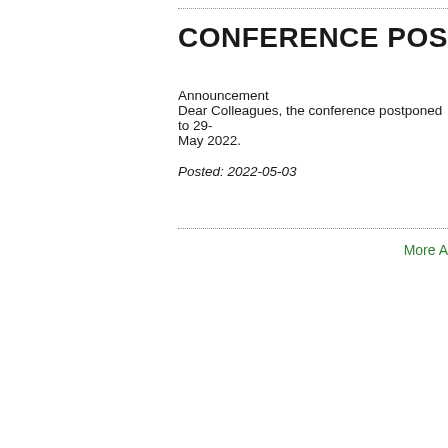CONFERENCE POSTPONED
Announcement
Dear Colleagues, the conference postponed to 29- May 2022.
Posted: 2022-05-03
More A